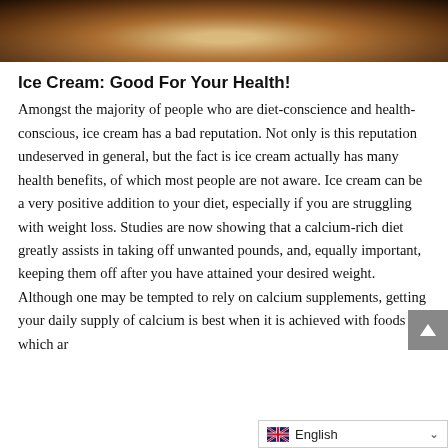[Figure (photo): Top portion of an image showing ice cream, cropped at the top of the page with warm brown and tan tones]
Ice Cream: Good For Your Health!
Amongst the majority of people who are diet-conscience and health-conscious, ice cream has a bad reputation. Not only is this reputation undeserved in general, but the fact is ice cream actually has many health benefits, of which most people are not aware. Ice cream can be a very positive addition to your diet, especially if you are struggling with weight loss. Studies are now showing that a calcium-rich diet greatly assists in taking off unwanted pounds, and, equally important, keeping them off after you have attained your desired weight. Although one may be tempted to rely on calcium supplements, getting your daily supply of calcium is best when it is achieved with foods which ar...